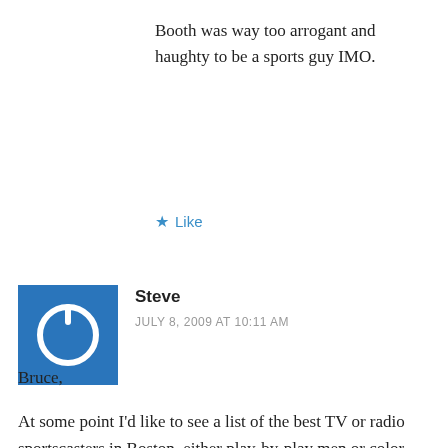Booth was way too arrogant and haughty to be a sports guy IMO.
★ Like
[Figure (illustration): Blue square avatar icon with a power/circle symbol in white]
Steve
JULY 8, 2009 AT 10:11 AM
Bruce,

At some point I'd like to see a list of the best TV or radio sportscasters in Boston, either play-by-play men or color commentators/analysts. There have been some giants, guys like Curt Gowdy, Dick